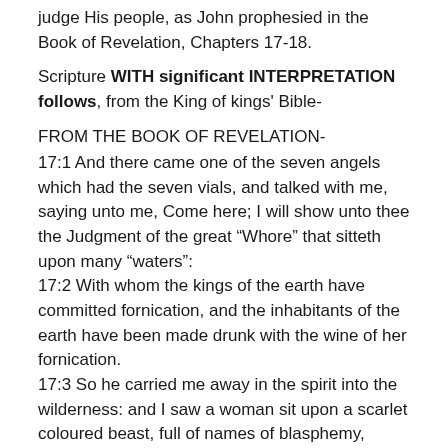judge His people, as John prophesied in the Book of Revelation, Chapters 17-18.
Scripture WITH significant INTERPRETATION follows, from the King of kings' Bible-
FROM THE BOOK OF REVELATION-
17:1 And there came one of the seven angels which had the seven vials, and talked with me, saying unto me, Come here; I will show unto thee the Judgment of the great “Whore” that sitteth upon many “waters”:
17:2 With whom the kings of the earth have committed fornication, and the inhabitants of the earth have been made drunk with the wine of her fornication.
17:3 So he carried me away in the spirit into the wilderness: and I saw a woman sit upon a scarlet coloured beast, full of names of blasphemy, having seven heads